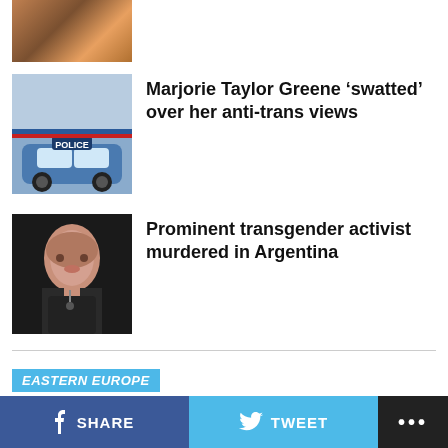[Figure (photo): Partially visible image at top, cropped]
[Figure (photo): Police car photo]
Marjorie Taylor Greene ‘swatted’ over her anti-trans views
[Figure (photo): Photo of a woman at a microphone, transgender activist]
Prominent transgender activist murdered in Argentina
EASTERN EUROPE
Former Ambassador Daniel Baer explains it all on Ukraine crisis
Expert downplays strategic thinking behind Putin’s move
SHARE   TWEET